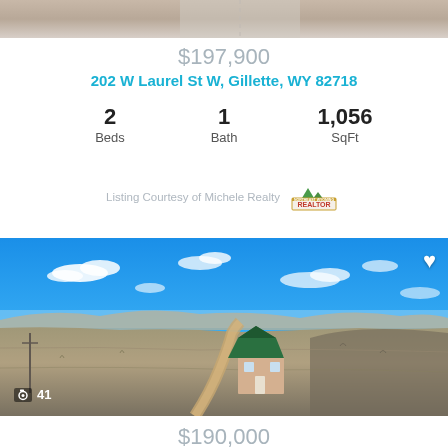[Figure (photo): Top partial image - aerial/road photo cropped at top of page]
$197,900
202 W Laurel St W, Gillette, WY 82718
2 Beds
1 Bath
1,056 SqFt
Listing Courtesy of Michele Realty
[Figure (photo): Aerial drone photo of small house with green roof on open prairie, with dirt road, blue sky with clouds. Camera icon shows 41 photos. Heart/favorite button in top right.]
$190,000